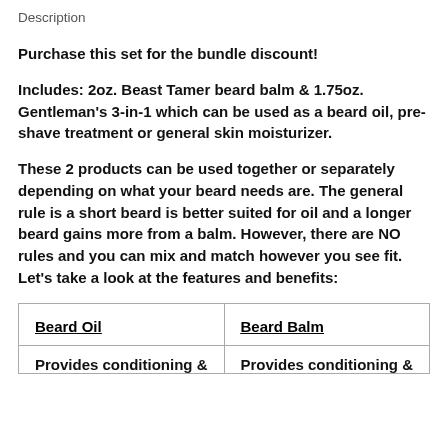Description
Purchase this set for the bundle discount!
Includes: 2oz. Beast Tamer beard balm & 1.75oz. Gentleman's 3-in-1 which can be used as a beard oil, pre-shave treatment or general skin moisturizer.
These 2 products can be used together or separately depending on what your beard needs are. The general rule is a short beard is better suited for oil and a longer beard gains more from a balm. However, there are NO rules and you can mix and match however you see fit. Let’s take a look at the features and benefits:
| Beard Oil | Beard Balm |
| --- | --- |
| Provides conditioning & | Provides conditioning & |